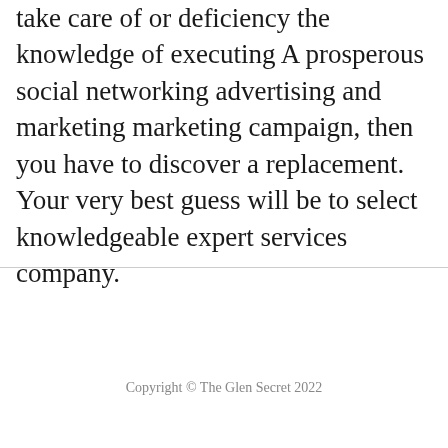take care of or deficiency the knowledge of executing A prosperous social networking advertising and marketing marketing campaign, then you have to discover a replacement. Your very best guess will be to select knowledgeable expert services company.
Copyright © The Glen Secret 2022